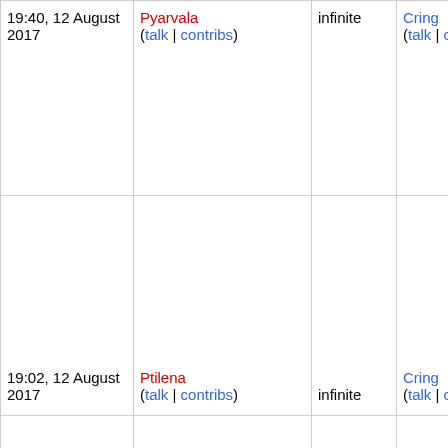| 19:40, 12 August 2017 | Pyarvala
(talk | contribs) | infinite | Cring
(talk | contribs) | •
• |
| 19:02, 12 August 2017 | Ptilena
(talk | contribs) | infinite | Cring
(talk | contribs) | •
•
•
•
• |
|  |  |  |  | • |